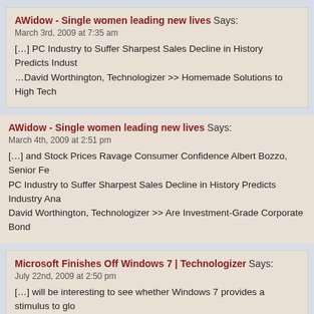AWidow - Single women leading new lives Says:
March 3rd, 2009 at 7:35 am
[…] PC Industry to Suffer Sharpest Sales Decline in History Predicts Indust…
…David Worthington, Technologizer >> Homemade Solutions to High Tech
AWidow - Single women leading new lives Says:
March 4th, 2009 at 2:51 pm
[…] and Stock Prices Ravage Consumer Confidence Albert Bozzo, Senior Fe…
PC Industry to Suffer Sharpest Sales Decline in History Predicts Industry Ana…
David Worthington, Technologizer >> Are Investment-Grade Corporate Bond…
Microsoft Finishes Off Windows 7  | Technologizer Says:
July 22nd, 2009 at 2:50 pm
[…] will be interesting to see whether Windows 7 provides a stimulus to glo…
have been slumping in the midst of the worldwide economic downturn. My …
will be a modest bump […]
Analyst Predicts Rise in PC Sales | Technologizer Says:
September 20th, 2009 at 10:24 am